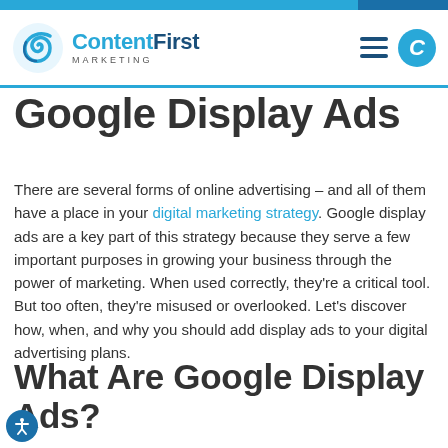ContentFirst Marketing
Google Display Ads
There are several forms of online advertising – and all of them have a place in your digital marketing strategy. Google display ads are a key part of this strategy because they serve a few important purposes in growing your business through the power of marketing. When used correctly, they're a critical tool. But too often, they're misused or overlooked. Let's discover how, when, and why you should add display ads to your digital advertising plans.
What Are Google Display Ads?